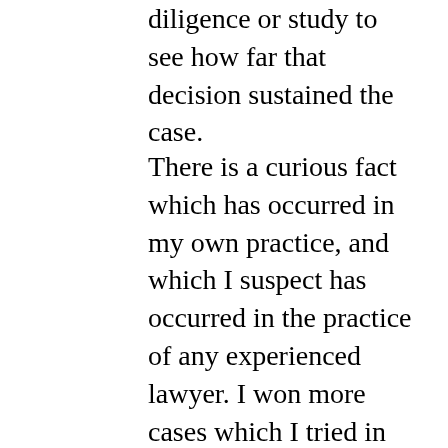diligence or study to see how far that decision sustained the case.
There is a curious fact which has occurred in my own practice, and which I suspect has occurred in the practice of any experienced lawyer. I won more cases which I tried in behalf of the plaintiff [991] in the younger years of my profession than I win now of the same class in proportion to the number tried after fifty years of professional labor. This would seem to be almost a paradox but an easily explained one. As a young man I took my cases as they came to me, and prepared them for trial substantially before I brought them. Thus, unless I met with some surprise in the state of facts